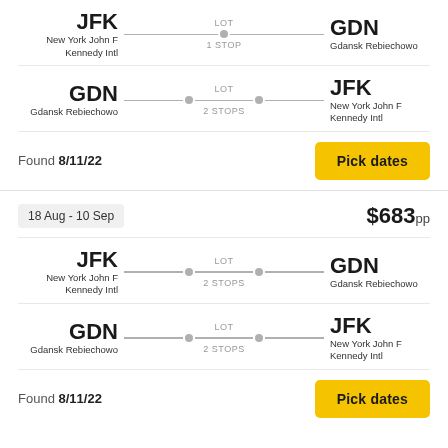JFK - New York John F Kennedy Intl → GDN - Gdansk Rebiechowo, LOT, 1 STOP
GDN - Gdansk Rebiechowo → JFK - New York John F Kennedy Intl, LOT, 2 STOPS
Found 8/11/22
Pick dates
18 Aug - 10 Sep
$683pp
JFK - New York John F Kennedy Intl → GDN - Gdansk Rebiechowo, LOT, 2 STOPS
GDN - Gdansk Rebiechowo → JFK - New York John F Kennedy Intl, LOT, 2 STOPS
Found 8/11/22
Pick dates